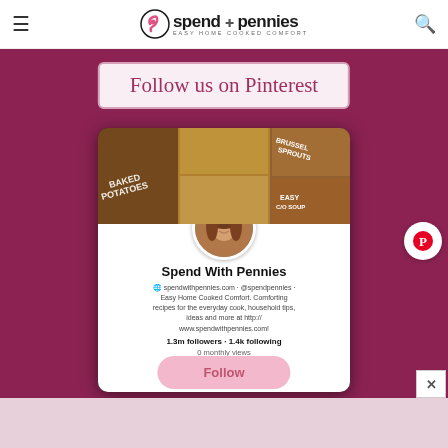spend with pennies — EASY HOME COOKED COMFORT
Follow us on Pinterest
[Figure (screenshot): Pinterest profile page for Spend With Pennies showing food collage header, circular profile photo of a woman with brown hair, profile name 'Spend With Pennies', description 'spendwithpennies.com · @spendpennies · Easy Home Cooked Comfort. Comforting recipes for the everyday cook, household tips, ideas and more at http://www.spendwithpennies.com!', stats '1.3m followers · 1.4k following', '0 monthly views', and a Follow button]
Follow